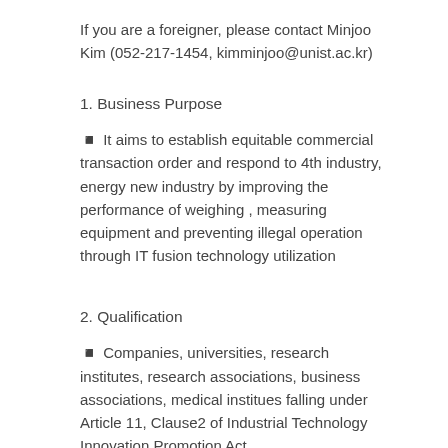If you are a foreigner, please contact Minjoo Kim (052-217-1454, kimminjoo@unist.ac.kr)
1. Business Purpose
◾ It aims to establish equitable commercial transaction order and respond to 4th industry, energy new industry by improving the performance of weighing , measuring equipment and preventing illegal operation through IT fusion technology utilization
2. Qualification
◾ Companies, universities, research institutes, research associations, business associations, medical institues falling under Article 11, Clause2 of Industrial Technology Innovation Promotion Act